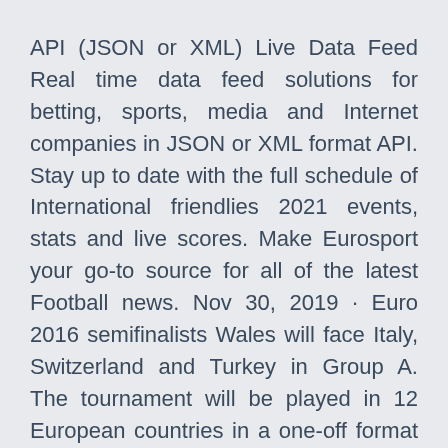API (JSON or XML) Live Data Feed Real time data feed solutions for betting, sports, media and Internet companies in JSON or XML format API. Stay up to date with the full schedule of International friendlies 2021 events, stats and live scores. Make Eurosport your go-to source for all of the latest Football news. Nov 30, 2019 · Euro 2016 semifinalists Wales will face Italy, Switzerland and Turkey in Group A. The tournament will be played in 12 European countries in a one-off format to celebrate the 60th anniversary of UEFA Euro 2020 Tickets UEFA Euro 2020. UEFA European Championship, or the Euros, is a soccer competition among the members of the Union of European Football Associations for the continental championship.